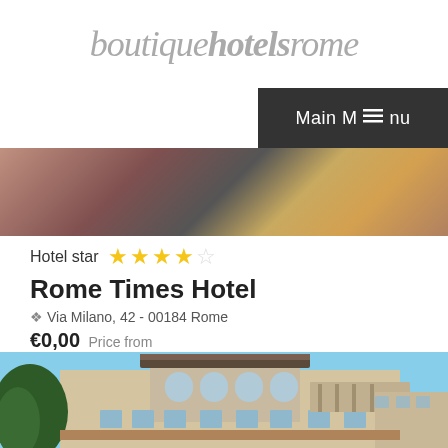boutiquehotelsrome
Main Menu
[Figure (photo): Top portion of hotel interior or facade photo, partially visible]
Hotel star ★★★★☆
Rome Times Hotel
Via Milano, 42 - 00184 Rome
€0,00 Price from
[Figure (photo): Exterior photo of Rome Times Hotel building, a classical Italian building with arched windows and ornate facade against a blue sky]